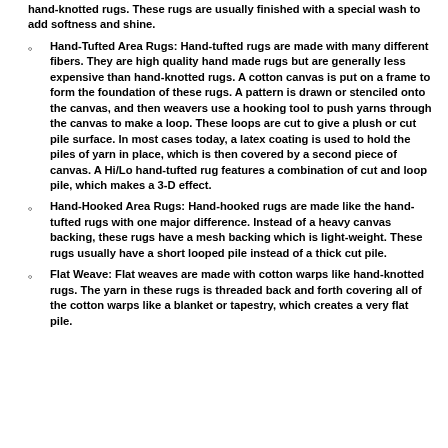(continuation) hand-knotted rugs. These rugs are usually finished with a special wash to add softness and shine.
Hand-Tufted Area Rugs: Hand-tufted rugs are made with many different fibers. They are high quality hand made rugs but are generally less expensive than hand-knotted rugs. A cotton canvas is put on a frame to form the foundation of these rugs. A pattern is drawn or stenciled onto the canvas, and then weavers use a hooking tool to push yarns through the canvas to make a loop. These loops are cut to give a plush or cut pile surface. In most cases today, a latex coating is used to hold the piles of yarn in place, which is then covered by a second piece of canvas. A Hi/Lo hand-tufted rug features a combination of cut and loop pile, which makes a 3-D effect.
Hand-Hooked Area Rugs: Hand-hooked rugs are made like the hand-tufted rugs with one major difference. Instead of a heavy canvas backing, these rugs have a mesh backing which is light-weight. These rugs usually have a short looped pile instead of a thick cut pile.
Flat Weave: Flat weaves are made with cotton warps like hand-knotted rugs. The yarn in these rugs is threaded back and forth covering all of the cotton warps like a blanket or tapestry, which creates a very flat pile.